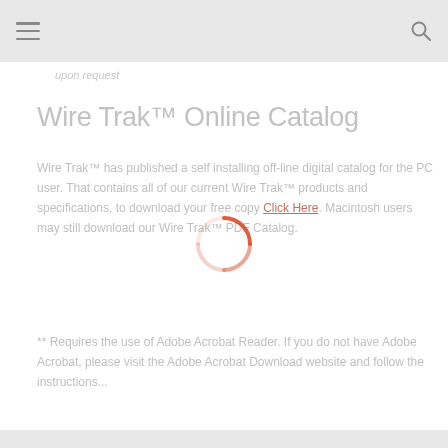upon request
Wire Trak™ Online Catalog
Wire Trak™ has published a self installing off-line digital catalog for the PC user. That contains all of our current Wire Trak™ products and specifications, to download your free copy Click Here. Macintosh users may still download our Wire Trak™ PDF Catalog.
** Requires the use of Adobe Acrobat Reader. If you do not have Adobe Acrobat, please visit the Adobe Acrobat Download website and follow the instructions...